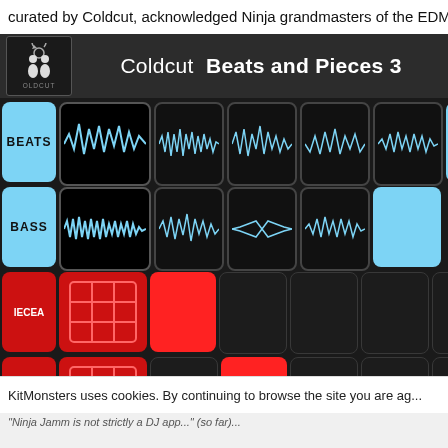curated by Coldcut, acknowledged Ninja grandmasters of the EDM/DJ...
[Figure (screenshot): Coldcut Beats and Pieces 3 music app interface showing a grid of audio sample pads with waveforms in blue/black, and beat/bass/IECEA/IECEB rows with red and blue pads. Bottom toolbar shows playback controls.]
KitMonsters uses cookies. By continuing to browse the site you are ag...
"Ninja Jamm is not strictly a DJ app..." (so far)...